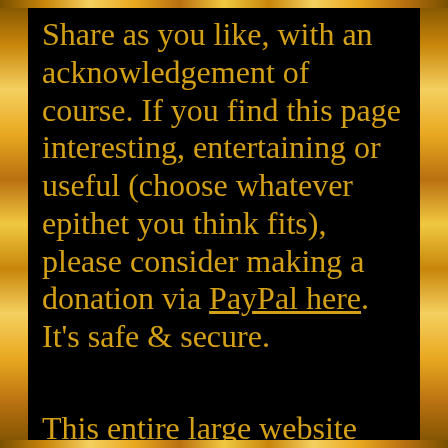Share as you like, with an acknowledgement of course. If you find this page interesting, entertaining or useful (choose whatever epithet you think fits), please consider making a donation via PayPal here. It's safe & secure.

This entire large website has been available free of